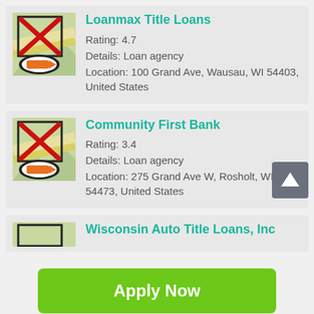[Figure (screenshot): Map icon with red X overlay and compass/location badge for Loanmax Title Loans]
Loanmax Title Loans
Rating: 4.7
Details: Loan agency
Location: 100 Grand Ave, Wausau, WI 54403, United States
[Figure (screenshot): Map icon with red X overlay and compass/location badge for Community First Bank]
Community First Bank
Rating: 3.4
Details: Loan agency
Location: 275 Grand Ave W, Rosholt, WI 54473, United States
[Figure (screenshot): Partial map icon for Wisconsin Auto Title Loans, Inc]
Wisconsin Auto Title Loans, Inc
Apply Now
Applying does NOT affect your credit score! No credit check to apply.